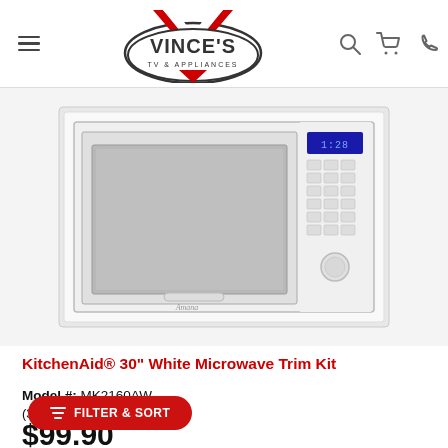Vince's TV & Appliances
[Figure (photo): White KitchenAid 30-inch microwave trim kit built into a white wall cabinet surround, showing the microwave with digital display and keypad on the right side]
KitchenAid® 30" White Microwave Trim Kit
Model #: MK2160AW
(3)
$99.90